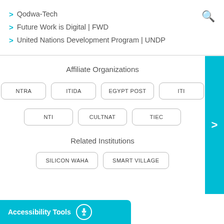> Qodwa-Tech
> Future Work is Digital | FWD
> United Nations Development Program | UNDP
Affiliate Organizations
NTRA  ITIDA  EGYPT POST  ITI
NTI  CULTNAT  TIEC
Related Institutions
SILICON WAHA  SMART VILLAGE
Accessibility Tools